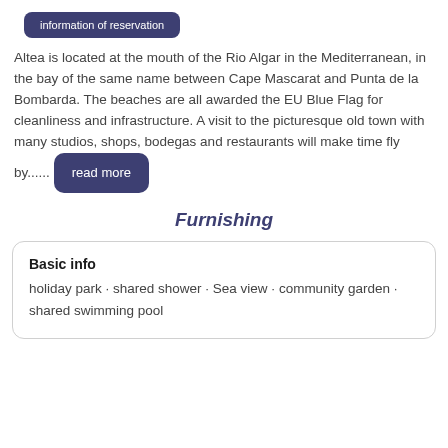[Figure (other): Button labeled 'information of reservation' with dark navy rounded rectangle background]
Altea is located at the mouth of the Rio Algar in the Mediterranean, in the bay of the same name between Cape Mascarat and Punta de la Bombarda. The beaches are all awarded the EU Blue Flag for cleanliness and infrastructure. A visit to the picturesque old town with many studios, shops, bodegas and restaurants will make time fly by...... read more
Furnishing
Basic info
holiday park · shared shower · Sea view · community garden · shared swimming pool